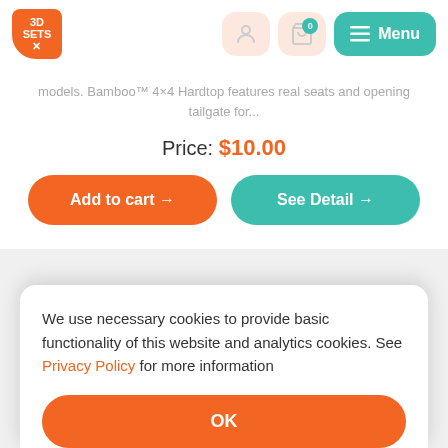[Figure (logo): 3D SETS X logo in orange with rounded shape]
models. Bamboo™ 4×4 Hardtop features real seats and opening tailgate for...
Price: $10.00
Add to cart →
See Detail →
We use necessary cookies to provide basic functionality of this website and analytics cookies. See Privacy Policy for more information
OK